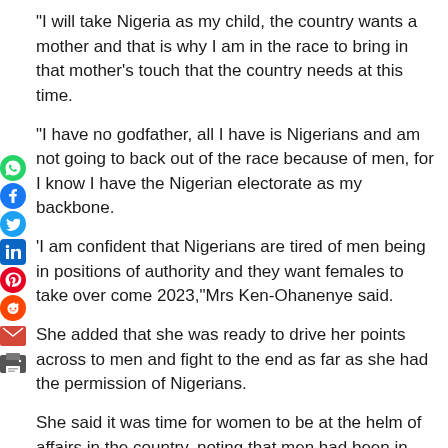“I will take Nigeria as my child, the country wants a mother and that is why I am in the race to bring in that mother’s touch that the country needs at this time.
“I have no godfather, all I have is Nigerians and am not going to back out of the race because of men, for I know I have the Nigerian electorate as my backbone.
‘I am confident that Nigerians are tired of men being in positions of authority and they want females to take over come 2023,”Mrs Ken-Ohanenye said.
She added that she was ready to drive her points across to men and fight to the end as far as she had the permission of Nigerians.
She said it was time for women to be at the helm of affairs in the country, noting that men had been in control of governance for over 40 year without achieving much.
“We cannot continue that way, a woman should be given a